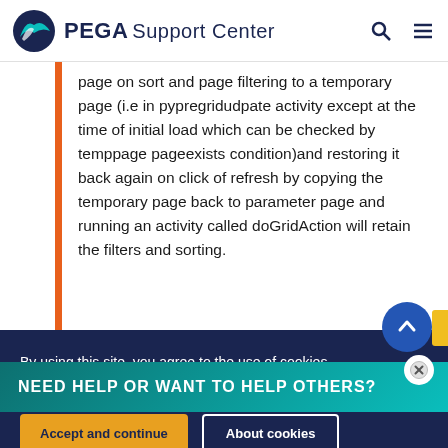PEGA Support Center
page on sort and page filtering to a temporary page (i.e in pypregridudpate activity except at the time of initial load which can be checked by temppage pageexists condition)and restoring it back again on click of refresh by copying the temporary page back to parameter page and running an activity called doGridAction will retain the filters and sorting.
NEED HELP OR WANT TO HELP OTHERS?
By using this site, you agree to the use of cookies.
Read our Privacy Policy
Accept and continue    About cookies